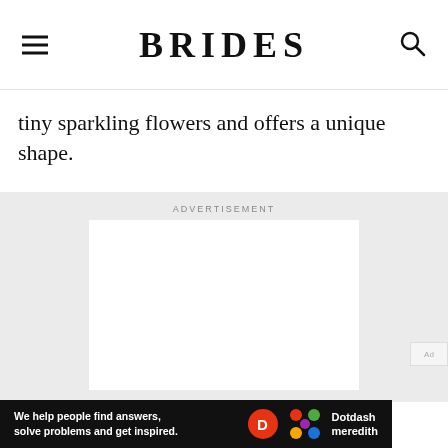BRIDES
tiny sparkling flowers and offers a unique shape.
[Figure (other): Advertisement placeholder — blank white rectangle on grey background with ADVERTISEMENT label above]
[Figure (other): Dotdash Meredith bottom banner ad: 'We help people find answers, solve problems and get inspired.' with D logo and colorful Dotdash Meredith logo]